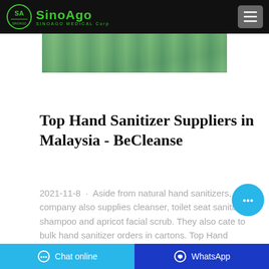SinoAgo Medical Corp
[Figure (photo): Partial photo of hand sanitizer products, cut off at top of page]
Top Hand Sanitizer Suppliers in Malaysia - BeCleanse
2021-11-8 · Aside from natural hand sanitizers, the company also supplies cleanser, toilet seat sanitizer, shampoo and apricot facial scrub. They also cater to bulk hand sanitizer orders in cartons. Top Hand Sanitizer Brands: Skin Cottage Hand Sanitizer
Chat online  WhatsApp